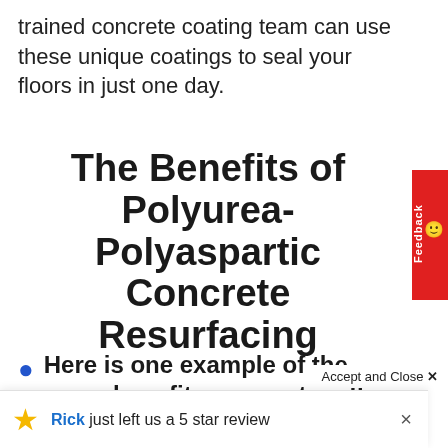trained concrete coating team can use these unique coatings to seal your floors in just one day.
The Benefits of Polyurea-Polyaspartic Concrete Resurfacing
Here is one example of the many benefits our custom floor coatings
Accept and Close ×
Rick just left us a 5 star review